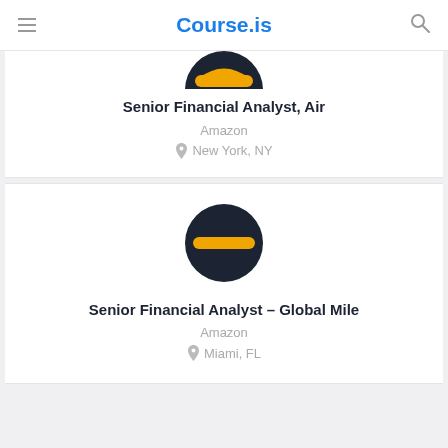Course.is
[Figure (logo): Amazon logo circle with dark navy background and orange stripe, cropped (top half visible)]
Senior Financial Analyst, Air
Amazon
New York, NY
[Figure (logo): Amazon logo circle with dark navy background and orange horizontal stripe through middle]
Senior Financial Analyst – Global Mile
Amazon
Miami, FL